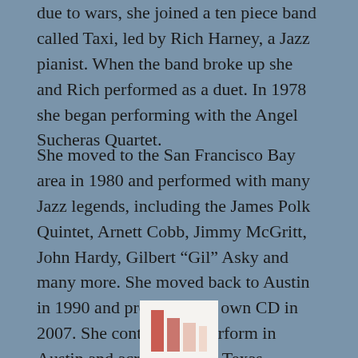due to wars, she joined a ten piece band called Taxi, led by Rich Harney, a Jazz pianist. When the band broke up she and Rich performed as a duet. In 1978 she began performing with the Angel Sucheras Quartet.
She moved to the San Francisco Bay area in 1980 and performed with many Jazz legends, including the James Polk Quintet, Arnett Cobb, Jimmy McGritt, John Hardy, Gilbert “Gil” Asky and many more. She moved back to Austin in 1990 and produced her own CD in 2007. She continues to perform in Austin and across Central Texas.
[Figure (illustration): Small illustration showing colored vertical bars (reddish-pink and light peach tones) on a white background, partially visible at bottom of page]